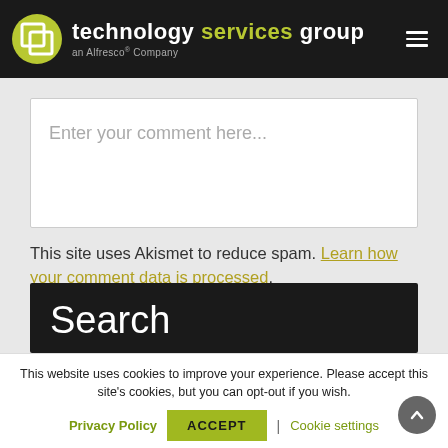[Figure (logo): Technology Services Group - an Alfresco Company logo with green circular icon on black header bar, hamburger menu icon top right]
Enter your comment here...
This site uses Akismet to reduce spam. Learn how your comment data is processed.
Search
This website uses cookies to improve your experience. Please accept this site's cookies, but you can opt-out if you wish.
Privacy Policy  ACCEPT  |  Cookie settings